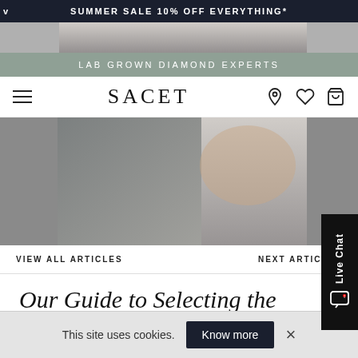SUMMER SALE 10% OFF EVERYTHING*
[Figure (photo): Close-up of a person wearing a grey knitted sweater, partial view of face and hands — hero image banner strip]
LAB GROWN DIAMOND EXPERTS
SACET — navigation bar with hamburger menu, brand name SACET, and icons for location, wishlist, and bag
[Figure (photo): Close-up of a person wearing a grey knitted turtleneck sweater, main hero image]
VIEW ALL ARTICLES
NEXT ARTICLES
Our Guide to Selecting the Perfect Engagement Ring
This site uses cookies.
Know more
Live Chat